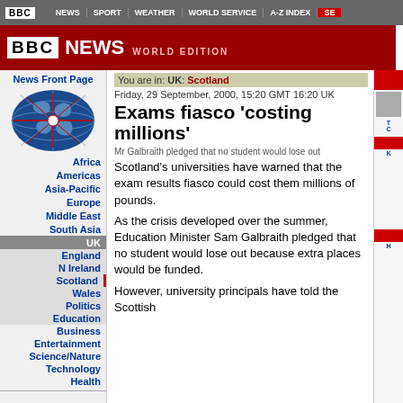BBC | NEWS | SPORT | WEATHER | WORLD SERVICE | A-Z INDEX | S...
[Figure (logo): BBC News World Edition logo banner in dark red]
You are in: UK: Scotland
Friday, 29 September, 2000, 15:20 GMT 16:20 UK
Exams fiasco 'costing millions'
[Figure (photo): BBC world globe navigation graphic]
News Front Page
Africa
Americas
Asia-Pacific
Europe
Middle East
South Asia
UK
England
N Ireland
Scotland
Wales
Politics
Education
Business
Entertainment
Science/Nature
Technology
Health
Mr Galbraith pledged that no student would lose out
Scotland's universities have warned that the exam results fiasco could cost them millions of pounds.
As the crisis developed over the summer, Education Minister Sam Galbraith pledged that no student would lose out because extra places would be funded.
However, university principals have told the Scottish